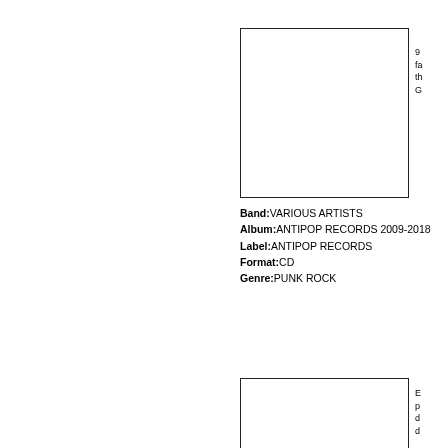[Figure (photo): Album cover image placeholder (white rectangle with border)]
9 fa th G
Band:VARIOUS ARTISTS
Album:ANTIPOP RECORDS 2009-2018
Label:ANTIPOP RECORDS
Format:CD
Genre:PUNK ROCK
[Figure (photo): Second album cover image placeholder (white rectangle with border)]
E p d d